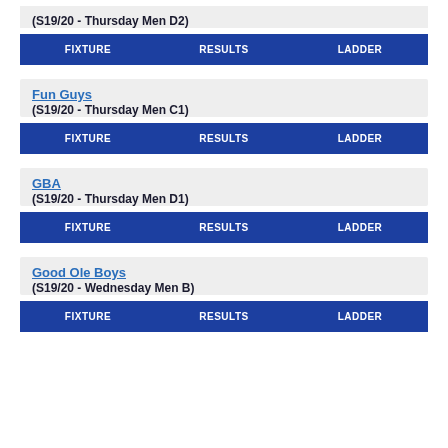(S19/20 - Thursday Men D2)
FIXTURE | RESULTS | LADDER
Fun Guys
(S19/20 - Thursday Men C1)
FIXTURE | RESULTS | LADDER
GBA
(S19/20 - Thursday Men D1)
FIXTURE | RESULTS | LADDER
Good Ole Boys
(S19/20 - Wednesday Men B)
FIXTURE | RESULTS | LADDER